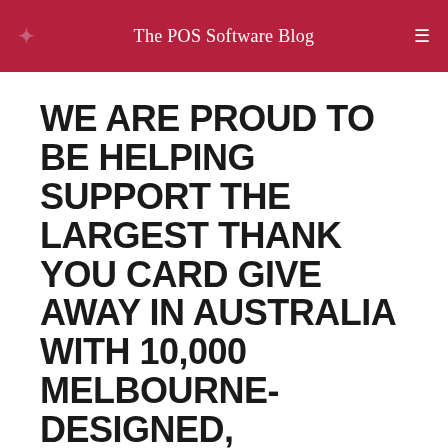The POS Software Blog
WE ARE PROUD TO BE HELPING SUPPORT THE LARGEST THANK YOU CARD GIVE AWAY IN AUSTRALIA WITH 10,000 MELBOURNE-DESIGNED, MELBOURNE-MADE CARDS BEING GIVEN AWAY
June 2, 2022 / 3 Min read